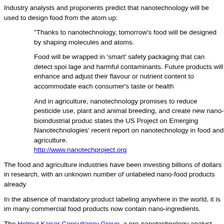Industry analysts and proponents predict that nanotechnology will be used to design food from the atom up:
"Thanks to nanotechnology, tomorrow's food will be designed by shaping molecules and atoms.
Food will be wrapped in 'smart' safety packaging that can detect spoilage and harmful contaminants. Future products will enhance and adjust their flavour or nutrient content to accommodate each consumer's taste or health
And in agriculture, nanotechnology promises to reduce pesticide use, improve plant and animal breeding, and create new nano-bioindustrial products, states the US Project on Emerging Nanotechnologies' recent report on nanotechnology in food and agriculture. http://www.nanotechproject.org
The food and agriculture industries have been investing billions of dollars in research, with an unknown number of unlabeled nano-food products already
In the absence of mandatory product labeling anywhere in the world, it is impossible to know how many commercial food products now contain nano-ingredients.
The Helmut Kaiser Consultancy Group, a pro-nanotechnology analyst, suggests there are now over 300 nano-food products available on the market worldwide.
It estimates that the global nano-food market was worth US$5.3 billion in 2005 and will reach US$20.4 billion by 2010. It predicts that nanotechnology will be used in 40% of the food industries by 2015.